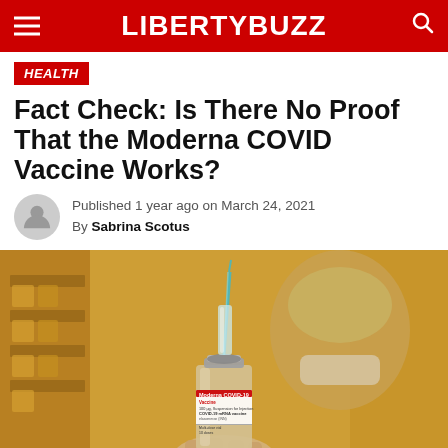LIBERTYBUZZ
HEALTH
Fact Check: Is There No Proof That the Moderna COVID Vaccine Works?
Published 1 year ago on March 24, 2021
By Sabrina Scotus
[Figure (photo): A person holds a Moderna COVID-19 vaccine vial with a syringe inserted into it. Background is blurred showing shelving and a masked person.]